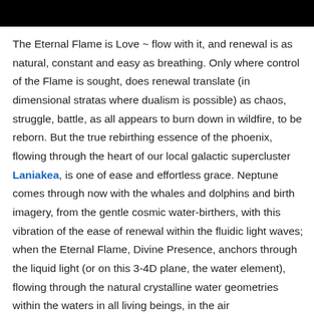[Figure (other): Black rectangular banner/header bar at the top of the page]
The Eternal Flame is Love ~ flow with it, and renewal is as natural, constant and easy as breathing. Only where control of the Flame is sought, does renewal translate (in dimensional stratas where dualism is possible) as chaos, struggle, battle, as all appears to burn down in wildfire, to be reborn. But the true rebirthing essence of the phoenix, flowing through the heart of our local galactic supercluster Laniakea, is one of ease and effortless grace. Neptune comes through now with the whales and dolphins and birth imagery, from the gentle cosmic water-birthers, with this vibration of the ease of renewal within the fluidic light waves; when the Eternal Flame, Divine Presence, anchors through the liquid light (or on this 3-4D plane, the water element), flowing through the natural crystalline water geometries within the waters in all living beings, in the air